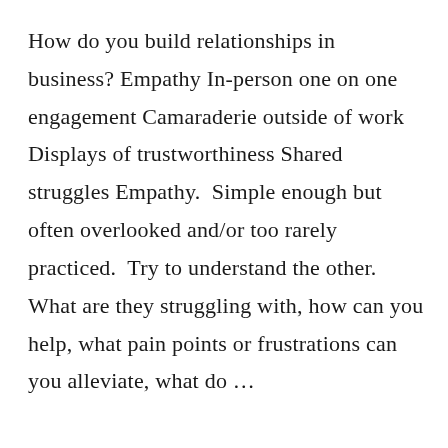How do you build relationships in business? Empathy In-person one on one engagement Camaraderie outside of work Displays of trustworthiness Shared struggles Empathy.  Simple enough but often overlooked and/or too rarely practiced.  Try to understand the other.  What are they struggling with, how can you help, what pain points or frustrations can you alleviate, what do …